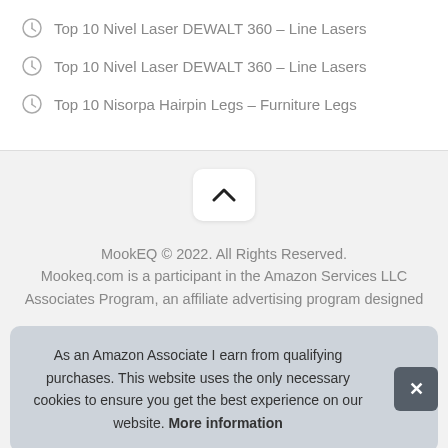Top 10 Nivel Laser DEWALT 360 – Line Lasers
Top 10 Nivel Laser DEWALT 360 – Line Lasers
Top 10 Nisorpa Hairpin Legs – Furniture Legs
[Figure (other): Scroll to top button with chevron up arrow on gray background]
MookEQ © 2022. All Rights Reserved. Mookeq.com is a participant in the Amazon Services LLC Associates Program, an affiliate advertising program designed
As an Amazon Associate I earn from qualifying purchases. This website uses the only necessary cookies to ensure you get the best experience on our website. More information